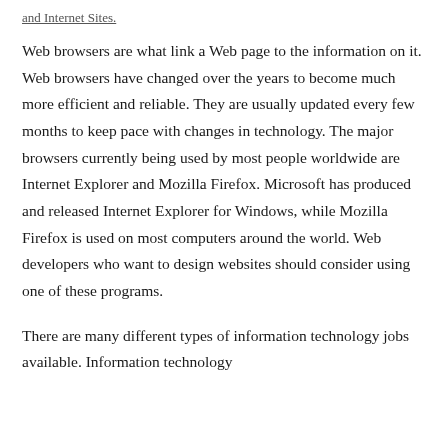and Internet Sites.
Web browsers are what link a Web page to the information on it. Web browsers have changed over the years to become much more efficient and reliable. They are usually updated every few months to keep pace with changes in technology. The major browsers currently being used by most people worldwide are Internet Explorer and Mozilla Firefox. Microsoft has produced and released Internet Explorer for Windows, while Mozilla Firefox is used on most computers around the world. Web developers who want to design websites should consider using one of these programs.
There are many different types of information technology jobs available. Information technology